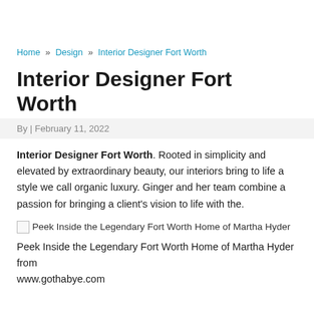Home » Design » Interior Designer Fort Worth
Interior Designer Fort Worth
By | February 11, 2022
Interior Designer Fort Worth. Rooted in simplicity and elevated by extraordinary beauty, our interiors bring to life a style we call organic luxury. Ginger and her team combine a passion for bringing a client's vision to life with the.
[Figure (photo): Broken image placeholder for 'Peek Inside the Legendary Fort Worth Home of Martha Hyder']
Peek Inside the Legendary Fort Worth Home of Martha Hyder from www.gothabye.com